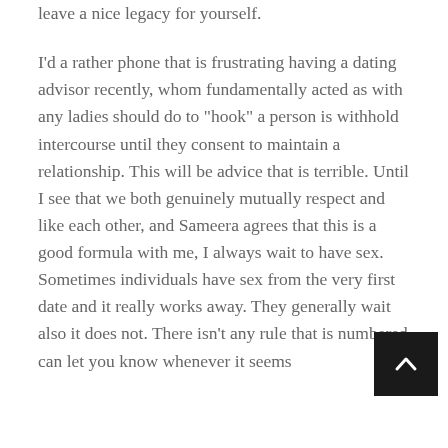leave a nice legacy for yourself.
I'd a rather phone that is frustrating having a dating advisor recently, whom fundamentally acted as with any ladies should do to "hook" a person is withhold intercourse until they consent to maintain a relationship. This will be advice that is terrible. Until I see that we both genuinely mutually respect and like each other, and Sameera agrees that this is a good formula with me, I always wait to have sex. Sometimes individuals have sex from the very first date and it really works away. They generally wait also it does not. There isn't any rule that is numbered can let you know whenever it seems